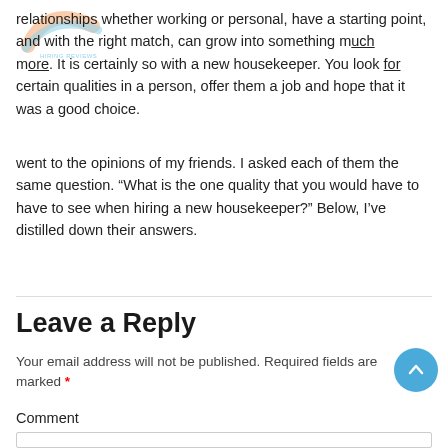relationships whether working or personal, have a starting point, and with the right match, can grow into something much more. It is certainly so with a new housekeeper. You look for certain qualities in a person, offer them a job and hope that it was a good choice.
went to the opinions of my friends. I asked each of them the same question. “What is the one quality that you would have to have to see when hiring a new housekeeper?” Below, I’ve distilled down their answers.
Leave a Reply
Your email address will not be published. Required fields are marked *
Comment